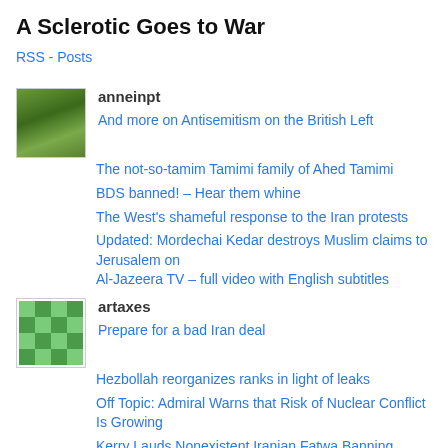A Sclerotic Goes to War
RSS - Posts
anneinpt
And more on Antisemitism on the British Left
The not-so-tamim Tamimi family of Ahed Tamimi
BDS banned! – Hear them whine
The West's shameful response to the Iran protests
Updated: Mordechai Kedar destroys Muslim claims to Jerusalem on Al-Jazeera TV – full video with English subtitles
artaxes
Prepare for a bad Iran deal
Hezbollah reorganizes ranks in light of leaks
Off Topic: Admiral Warns that Risk of Nuclear Conflict Is Growing
Kerry Lauds Nonexistent Iranian Fatwa Banning Nuclear Weapons – MEMRI
War Across the Borders
danmillerinpanama